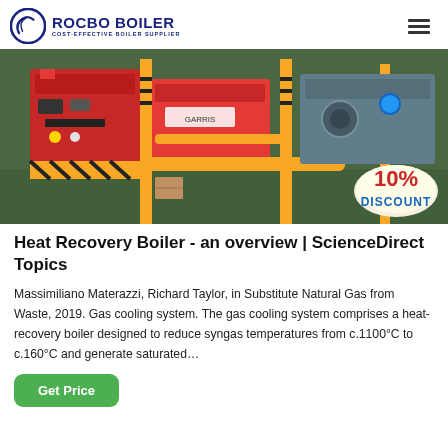ROCBO BOILER - COST-EFFECTIVE BOILER SUPPLIER
[Figure (photo): Industrial boiler equipment on a factory floor with red and yellow machinery, yellow pipes and safety-striped pillars, green floor. A '10% DISCOUNT' badge overlaid on the bottom right.]
Heat Recovery Boiler - an overview | ScienceDirect Topics
Massimiliano Materazzi, Richard Taylor, in Substitute Natural Gas from Waste, 2019. Gas cooling system. The gas cooling system comprises a heat-recovery boiler designed to reduce syngas temperatures from c.1100°C to c.160°C and generate saturated…
Get Price